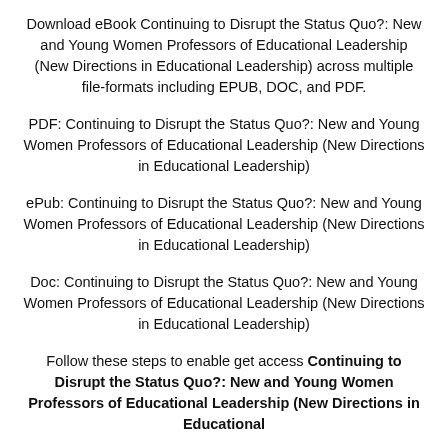Download eBook Continuing to Disrupt the Status Quo?: New and Young Women Professors of Educational Leadership (New Directions in Educational Leadership) across multiple file-formats including EPUB, DOC, and PDF.
PDF: Continuing to Disrupt the Status Quo?: New and Young Women Professors of Educational Leadership (New Directions in Educational Leadership)
ePub: Continuing to Disrupt the Status Quo?: New and Young Women Professors of Educational Leadership (New Directions in Educational Leadership)
Doc: Continuing to Disrupt the Status Quo?: New and Young Women Professors of Educational Leadership (New Directions in Educational Leadership)
Follow these steps to enable get access Continuing to Disrupt the Status Quo?: New and Young Women Professors of Educational Leadership (New Directions in Educational